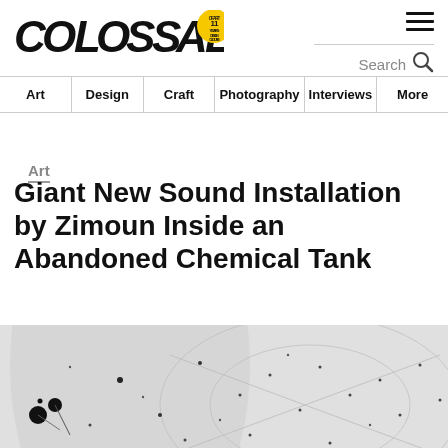[Figure (logo): Colossal logo with bold black block letters and a yellow circular badge reading '11 Years of Art Design Culture']
Art | Design | Craft | Photography | Interviews | More
Art
Giant New Sound Installation by Zimoun Inside an Abandoned Chemical Tank
[Figure (photo): Partial view of a large industrial interior (chemical tank) with small scattered black dots/mechanisms visible on a light gray curved surface with abstract geometric circle outlines]